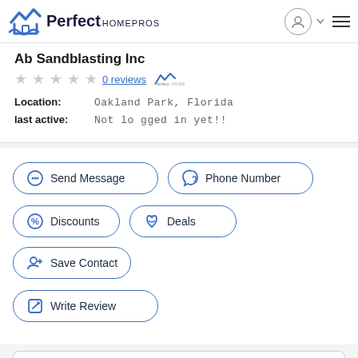[Figure (logo): Perfect HomePros logo with blue house/checkmark icon and text 'Perfect HOMEPROS']
Ab Sandblasting Inc
0 reviews
Location: Oakland Park, Florida
last active: Not logged in yet!!
Send Message
Phone Number
Discounts
Deals
Save Contact
Write Review
View Profile